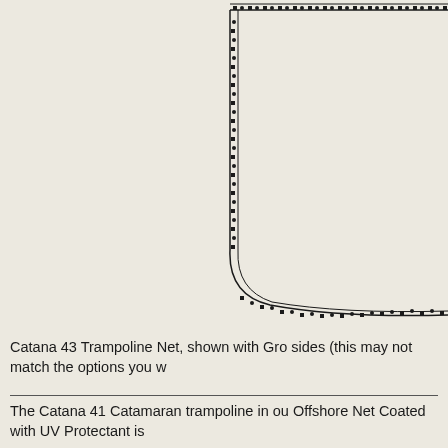[Figure (engineering-diagram): Technical schematic drawing of a Catana 43 Trampoline Net, showing the corner and side edges with a double-dotted border pattern indicating grommets or attachment points. The diagram shows the upper-left corner and bottom edge of the trampoline net shape, with a curved lower-left corner. The background is a light cream/beige color.]
Catana 43 Trampoline Net, shown with Gro sides (this may not match the options you w
The Catana 41 Catamaran trampoline in ou Offshore Net Coated with UV Protectant is